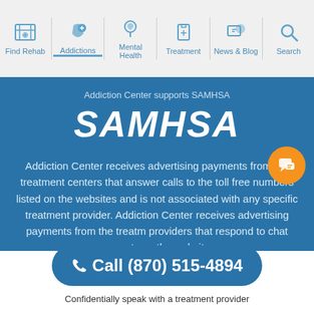[Figure (screenshot): Website navigation bar with icons: Find Rehab, Addictions, Mental Health, Treatment, News & Blog, Search]
Addiction Center supports SAMHSA
SAMHSA
Addiction Center receives advertising payments from the treatment centers that answer calls to the toll free numbers listed on the websites and is not associated with any specific treatment provider. Addiction Center receives advertising payments from the treatment providers that respond to chat requests on the websites
Call (870) 515-4894
Confidentially speak with a treatment provider